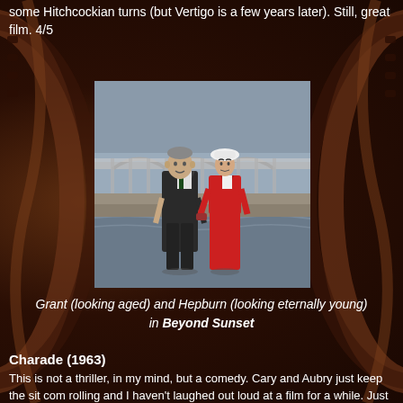some Hitchcockian turns (but Vertigo is a few years later).  Still, great film.  4/5
[Figure (photo): Cary Grant and Audrey Hepburn standing near a bridge over a river. Grant wears a dark suit, Hepburn wears a red outfit and white hat.]
Grant (looking aged) and Hepburn (looking eternally young) in Beyond Sunset
Charade (1963)
This is not a thriller, in my mind, but a comedy.  Cary and Aubry just keep the sit com rolling and I haven't laughed out loud at a film for a while.  Just for fun, James Coburn, Walter Mattheau, and George Kennedy are there as the clueless bad guys.  My favorite bit is where the boy goes up to James Coburn and asks if he is a cowboy, like in the movies.  The film is so busy having fun, I don't care if the plot is a little